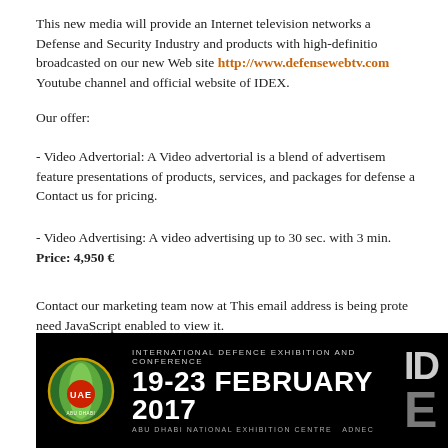This new media will provide an Internet television networks and Defense and Security Industry and products with high-definition broadcasted on our new Web site http://www.defensewebtv.com Youtube channel and official website of IDEX.
Our offer:
- Video Advertorial: A Video advertorial is a blend of advertisement feature presentations of products, services, and packages for defense and Contact us for pricing.
- Video Advertising: A video advertising up to 30 sec. with 3 min. Price: 4,950 €
Contact our marketing team now at This email address is being protected need JavaScript enabled to view it.
or call +32 081 56.73.67 or +33 662 533 120
[Figure (infographic): IDEX 2017 banner: International Defence Exhibition and Conference, 19-23 February 2017, Abu Dhabi National Exhibition Centre, ADNEC. Features UAE logo and IDEX branding on black background.]